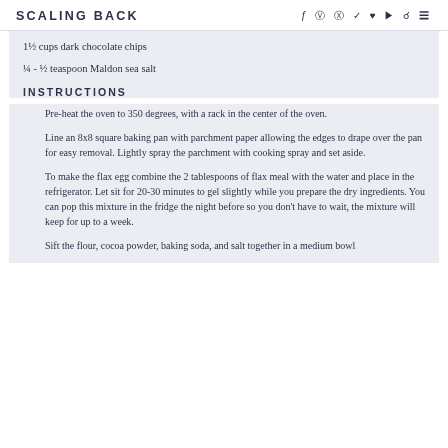SCALING BACK
1½ cups dark chocolate chips
¼ - ½ teaspoon Maldon sea salt
INSTRUCTIONS
Pre-heat the oven to 350 degrees, with a rack in the center of the oven.
Line an 8x8 square baking pan with parchment paper allowing the edges to drape over the pan for easy removal. Lightly spray the parchment with cooking spray and set aside.
To make the flax egg combine the 2 tablespoons of flax meal with the water and place in the refrigerator. Let sit for 20-30 minutes to gel slightly while you prepare the dry ingredients. You can pop this mixture in the fridge the night before so you don't have to wait, the mixture will keep for up to a week.
Sift the flour, cocoa powder, baking soda, and salt together in a medium bowl